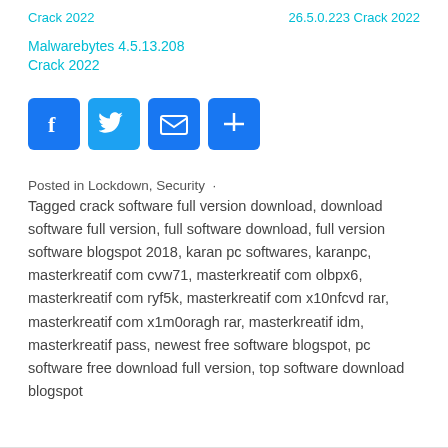Crack 2022   26.5.0.223 Crack 2022
Malwarebytes 4.5.13.208 Crack 2022
[Figure (other): Social share buttons: Facebook, Twitter, Email, Share (plus icon)]
Posted in Lockdown, Security  ·
Tagged crack software full version download, download software full version, full software download, full version software blogspot 2018, karan pc softwares, karanpc, masterkreatif com cvw71, masterkreatif com olbpx6, masterkreatif com ryf5k, masterkreatif com x10nfcvd rar, masterkreatif com x1m0oragh rar, masterkreatif idm, masterkreatif pass, newest free software blogspot, pc software free download full version, top software download blogspot